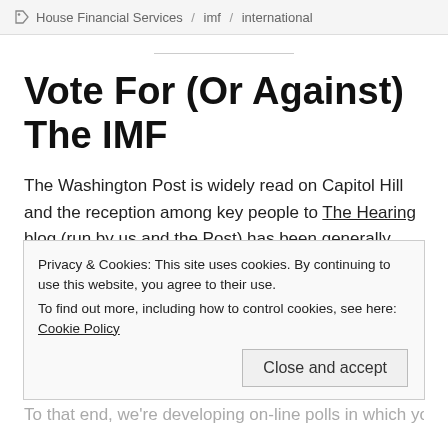House Financial Services / imf / international
Vote For (Or Against) The IMF
The Washington Post is widely read on Capitol Hill and the reception among key people to The Hearing blog (run by us and the Post) has been generally very positive. Members of Congress and their staff want to get you more involved in their discussions around economic policy, and
Privacy & Cookies: This site uses cookies. By continuing to use this website, you agree to their use. To find out more, including how to control cookies, see here: Cookie Policy
To that end, we're developing on-line polls in which you